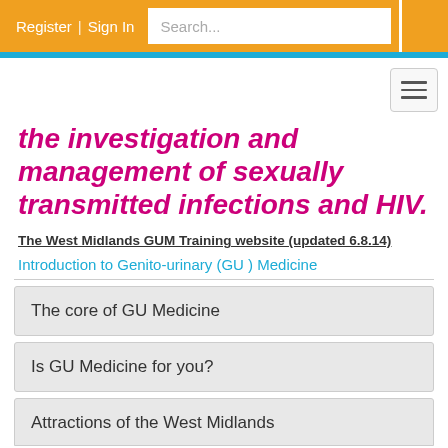Register  |  Sign In   Search...
the investigation and management of sexually transmitted infections and HIV.
The West Midlands GUM Training website (updated 6.8.14)
Introduction to Genito-urinary (GU ) Medicine
The core of GU Medicine
Is GU Medicine for you?
Attractions of the West Midlands
The West Midlands region